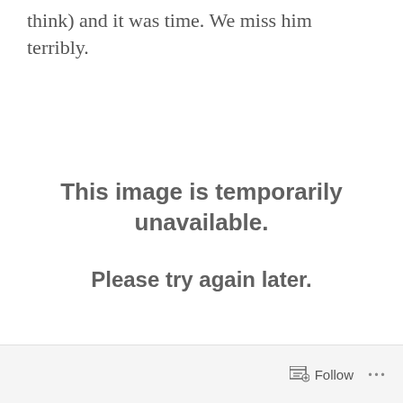think) and it was time. We miss him terribly.
[Figure (other): Image temporarily unavailable placeholder showing 'This image is temporarily unavailable. Please try again later.']
Follow ...